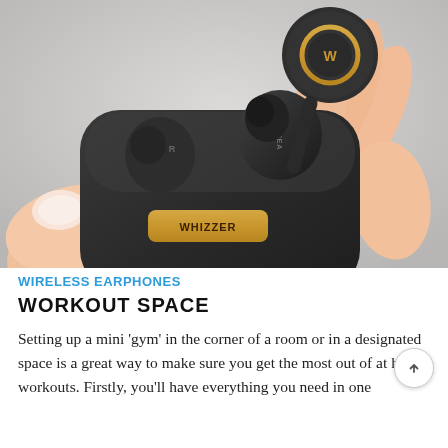[Figure (photo): Close-up photo of hands holding a Whizzer branded black wireless earphone/earbud being removed from its charging case. The case has a gold 'WHIZZER' label. The earbud stem is visible with text on it. Background is light grey.]
WIRELESS EARPHONES
WORKOUT SPACE
Setting up a mini 'gym' in the corner of a room or in a designated space is a great way to make sure you get the most out of at home workouts. Firstly, you'll have everything you need in one